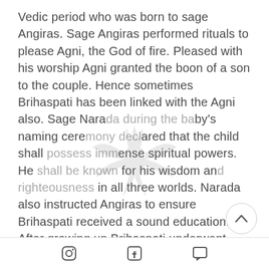Vedic period who was born to sage Angiras. Sage Angiras performed rituals to please Agni, the God of fire. Pleased with his worship Agni granted the boon of a son to the couple. Hence sometimes Brihaspati has been linked with the Agni also. Sage Narada during the baby's naming ceremony declared that the child shall possess immense spiritual powers. He shall be known for his wisdom and righteousness in all three worlds. Narada also instructed Angiras to ensure Brihaspati received a sound education. After growing up Brihaspati underwent deep penance to please Shiva. Pleased with his
[Figure (illustration): Watermark logo: a stylized phoenix or bird with wings spread, grey color, semi-transparent, centered on the page]
Instagram icon | Facebook icon | Comment icon